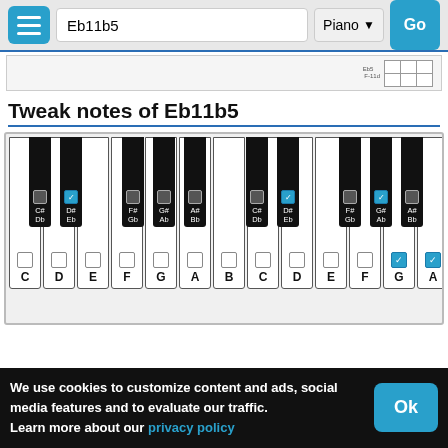Eb11b5 | Piano | Go
[Figure (screenshot): Partial chord table/grid view at top]
Tweak notes of Eb11b5
[Figure (illustration): Piano keyboard showing checked black keys: D#/Eb and G#/Ab (first octave), D#/Eb and G#/Ab (second octave); checked white keys: G and A]
We use cookies to customize content and ads, social media features and to evaluate our traffic.
Learn more about our privacy policy